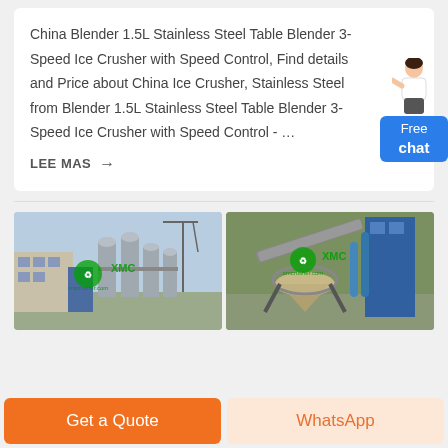China Blender 1.5L Stainless Steel Table Blender 3-Speed Ice Crusher with Speed Control, Find details and Price about China Ice Crusher, Stainless Steel from Blender 1.5L Stainless Steel Table Blender 3-Speed Ice Crusher with Speed Control - …
LEE MAS →
[Figure (photo): Industrial facility with large metal silos and blue building, XMC watermark overlay]
[Figure (photo): Industrial stone crushing equipment with conveyor belt and blue structure, XMC watermark overlay]
Get a Quote
WhatsApp